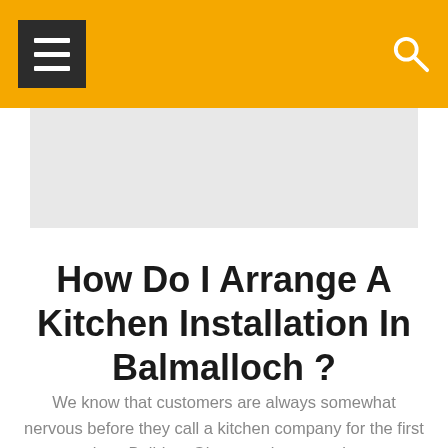[Figure (other): Orange navigation header bar with a dark hamburger menu icon on the left and a white search icon on the right]
[Figure (other): Light grey rectangular banner/advertisement placeholder area below the header]
How Do I Arrange A Kitchen Installation In Balmalloch ?
We know that customers are always somewhat nervous before they call a kitchen company for the first time. Builders Glasgow aims to make